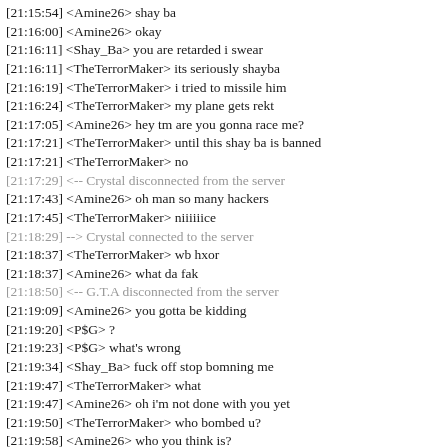[21:15:54] <Amine26> shay ba
[21:16:00] <Amine26> okay
[21:16:11] <Shay_Ba> you are retarded i swear
[21:16:11] <TheTerrorMaker> its seriously shayba
[21:16:19] <TheTerrorMaker> i tried to missile him
[21:16:24] <TheTerrorMaker> my plane gets rekt
[21:17:05] <Amine26> hey tm are you gonna race me?
[21:17:21] <TheTerrorMaker> until this shay ba is banned
[21:17:21] <TheTerrorMaker> no
[21:17:29] <-- Crystal disconnected from the server
[21:17:43] <Amine26> oh man so many hackers
[21:17:45] <TheTerrorMaker> niiiiiice
[21:18:29] --> Crystal connected to the server
[21:18:37] <TheTerrorMaker> wb hxor
[21:18:37] <Amine26> what da fak
[21:18:50] <-- G.T.A disconnected from the server
[21:19:09] <Amine26> you gotta be kidding
[21:19:20] <P$G> ?
[21:19:23] <P$G> what's wrong
[21:19:34] <Shay_Ba> fuck off stop bomning me
[21:19:47] <TheTerrorMaker> what
[21:19:47] <Amine26> oh i'm not done with you yet
[21:19:50] <TheTerrorMaker> who bombed u?
[21:19:58] <Amine26> who you think is?
[21:20:03] <-- TheTerrorMaker disconnected from the server
[21:20:??] <Amine26>...